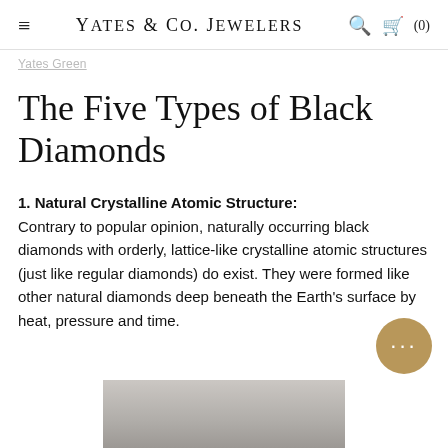Yates & Co. Jewelers
Yates Green
The Five Types of Black Diamonds
1. Natural Crystalline Atomic Structure:
Contrary to popular opinion, naturally occurring black diamonds with orderly, lattice-like crystalline atomic structures (just like regular diamonds) do exist. They were formed like other natural diamonds deep beneath the Earth's surface by heat, pressure and time.
[Figure (photo): Partial view of a black diamond ring on a gray/silver background, only the top portion visible at the bottom of the page.]